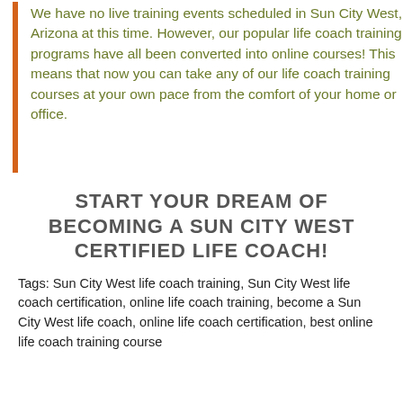We have no live training events scheduled in Sun City West, Arizona at this time. However, our popular life coach training programs have all been converted into online courses! This means that now you can take any of our life coach training courses at your own pace from the comfort of your home or office.
START YOUR DREAM OF BECOMING A SUN CITY WEST CERTIFIED LIFE COACH!
Tags: Sun City West life coach training, Sun City West life coach certification, online life coach training, become a Sun City West life coach, online life coach certification, best online life coach training course